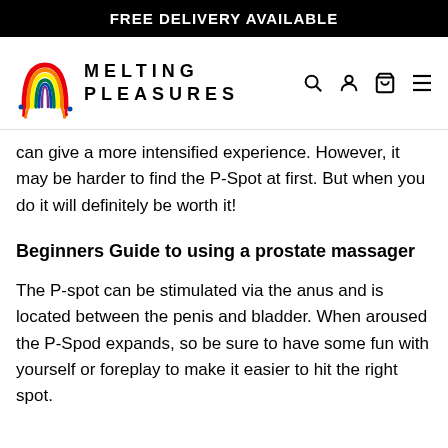FREE DELIVERY AVAILABLE
[Figure (logo): Melting Pleasures logo with rainbow-colored dripping arch and brand name]
can give a more intensified experience. However, it may be harder to find the P-Spot at first. But when you do it will definitely be worth it!
Beginners Guide to using a prostate massager
The P-spot can be stimulated via the anus and is located between the penis and bladder. When aroused the P-Spod expands, so be sure to have some fun with yourself or foreplay to make it easier to hit the right spot.